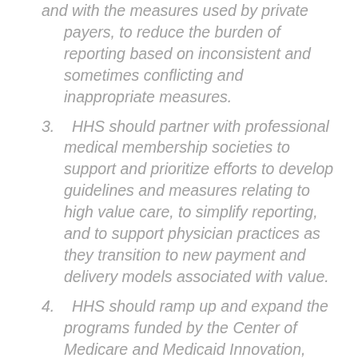and with the measures used by private payers, to reduce the burden of reporting based on inconsistent and sometimes conflicting and inappropriate measures.
3.   HHS should partner with professional medical membership societies to support and prioritize efforts to develop guidelines and measures relating to high value care, to simplify reporting, and to support physician practices as they transition to new payment and delivery models associated with value.
4.   HHS should ramp up and expand the programs funded by the Center of Medicare and Medicaid Innovation, including the Comprehensive Primary Care Initiative.
5.   HHS should continue to make improvements in traditional fee-for-service that will facilitate the transition to value-based models, including improving on the core Medicare payment policy framework and